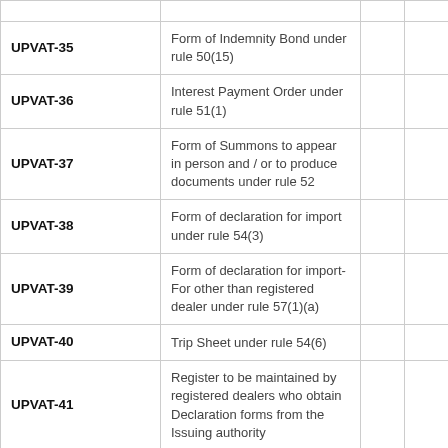| Form | Description |  |  |  |
| --- | --- | --- | --- | --- |
| UPVAT-35 | Form of Indemnity Bond under rule 50(15) |  |  |  |
| UPVAT-36 | Interest Payment Order under rule 51(1) |  |  |  |
| UPVAT-37 | Form of Summons to appear in person and / or to produce documents under rule 52 |  |  |  |
| UPVAT-38 | Form of declaration for import under rule 54(3) |  |  |  |
| UPVAT-39 | Form of declaration for import-For other than registered dealer under rule 57(1)(a) |  |  |  |
| UPVAT-40 | Trip Sheet under rule 54(6) |  |  |  |
| UPVAT-41 | Register to be maintained by registered dealers who obtain Declaration forms from the Issuing authority |  |  |  |
| UPVAT-42 | Application for obtaining declaration for import form -other then registered dealer under rule 57(2) |  |  |  |